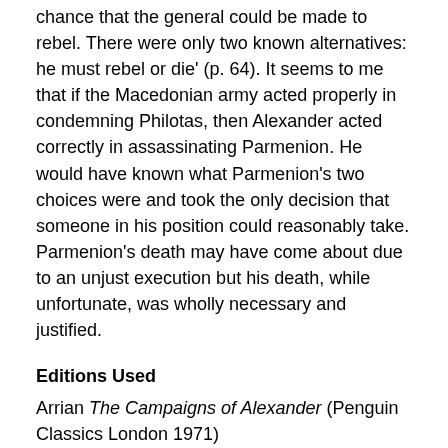chance that the general could be made to rebel. There were only two known alternatives: he must rebel or die' (p. 64). It seems to me that if the Macedonian army acted properly in condemning Philotas, then Alexander acted correctly in assassinating Parmenion. He would have known what Parmenion's two choices were and took the only decision that someone in his position could reasonably take. Parmenion's death may have come about due to an unjust execution but his death, while unfortunate, was wholly necessary and justified.
Editions Used
Arrian The Campaigns of Alexander (Penguin Classics London 1971)
Tarn, W W Alexander the Great I Narrative (Cambridge University Press 1948)
The quotations from Oliver Stone's Alexander come from